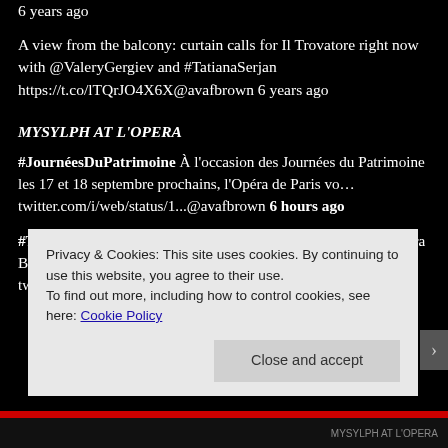6 years ago
A view from the balcony: curtain calls for Il Trovatore right now with @ValeryGergiev and #TatianaSerjan https://t.co/lTQrJO4X6X@avafbrown 6 years ago
MYSYLPH AT L'OPERA
#JournéesDuPatrimoine À l'occasion des Journées du Patrimoine les 17 et 18 septembre prochains, l'Opéra de Paris vo… twitter.com/i/web/status/1...@avafbrown 6 hours ago
#Tosca #Extrait @Maria_Agresta chantait Floria Tosca à l'Opéra Bastille lors de la saison 20/21. Saioa Hernández… twitter.com/i/web/status/1...@avafbrown 7 hours ago
Privacy & Cookies: This site uses cookies. By continuing to use this website, you agree to their use.
To find out more, including how to control cookies, see here: Cookie Policy
Close and accept